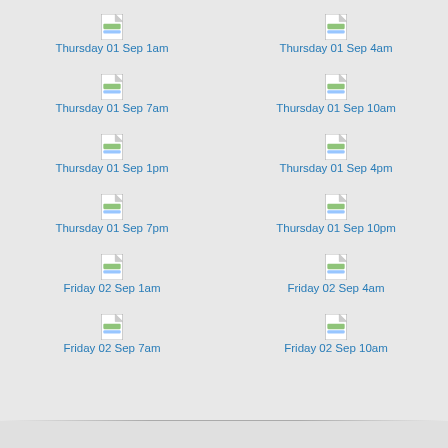[Figure (other): File icon for Thursday 01 Sep 1am]
Thursday 01 Sep 1am
[Figure (other): File icon for Thursday 01 Sep 4am]
Thursday 01 Sep 4am
[Figure (other): File icon for Thursday 01 Sep 7am]
Thursday 01 Sep 7am
[Figure (other): File icon for Thursday 01 Sep 10am]
Thursday 01 Sep 10am
[Figure (other): File icon for Thursday 01 Sep 1pm]
Thursday 01 Sep 1pm
[Figure (other): File icon for Thursday 01 Sep 4pm]
Thursday 01 Sep 4pm
[Figure (other): File icon for Thursday 01 Sep 7pm]
Thursday 01 Sep 7pm
[Figure (other): File icon for Thursday 01 Sep 10pm]
Thursday 01 Sep 10pm
[Figure (other): File icon for Friday 02 Sep 1am]
Friday 02 Sep 1am
[Figure (other): File icon for Friday 02 Sep 4am]
Friday 02 Sep 4am
[Figure (other): File icon for Friday 02 Sep 7am]
Friday 02 Sep 7am
[Figure (other): File icon for Friday 02 Sep 10am]
Friday 02 Sep 10am